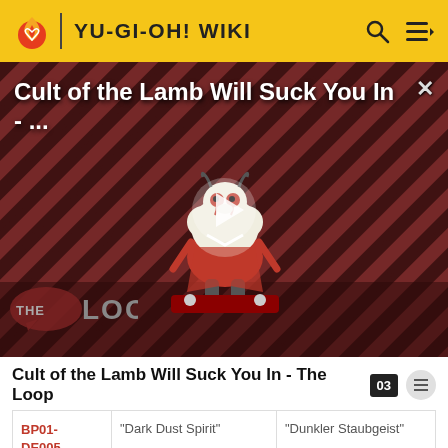YU-GI-OH! WIKI
[Figure (screenshot): Video thumbnail for 'Cult of the Lamb Will Suck You In - ...' showing an animated lamb character on a striped red and black background with a play button overlay and 'THE LOOP' branding]
Cult of the Lamb Will Suck You In - The Loop
| Card ID | English Name | German Name |
| --- | --- | --- |
| BP01-DE005 | "Dark Dust Spirit" | "Dunkler Staubgeist" |
| BP01- | "Skull Archfiend | "Schädel-Erzunterweltler |